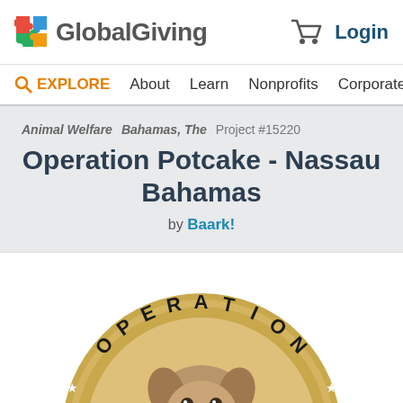GlobalGiving  Login
EXPLORE  About  Learn  Nonprofits  Corporate
Animal Welfare  Bahamas, The  Project #15220
Operation Potcake - Nassau Bahamas
by Baark!
[Figure (illustration): Operation Potcake circular logo badge featuring a dog face in the center with the text OPERATION arched across the top, gold/tan colored circular design with stars]